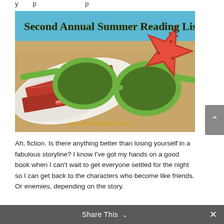[Figure (illustration): Summer reading list promotional image showing green sunglasses and a red starfish resting on an open book on sand, with blue sky background. Title text reads 'Second Annual Summer Reading List' and URL 'www.mommyonfire.com' at the bottom.]
Ah, fiction. Is there anything better than losing yourself in a fabulous storyline? I know I've got my hands on a good book when I can't wait to get everyone settled for the night so I can get back to the characters who become like friends. Or enemies, depending on the story.